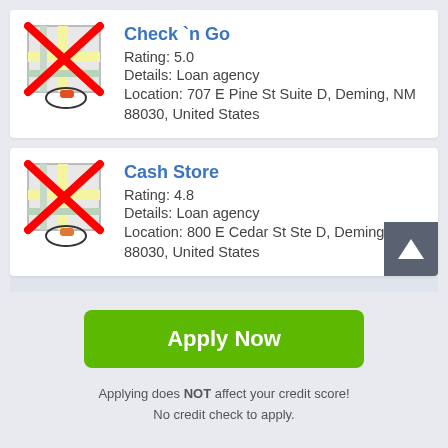Check `n Go
Rating: 5.0
Details: Loan agency
Location: 707 E Pine St Suite D, Deming, NM 88030, United States
Cash Store
Rating: 4.8
Details: Loan agency
Location: 800 E Cedar St Ste D, Deming, NM 88030, United States
Apply Now
Applying does NOT affect your credit score!
No credit check to apply.